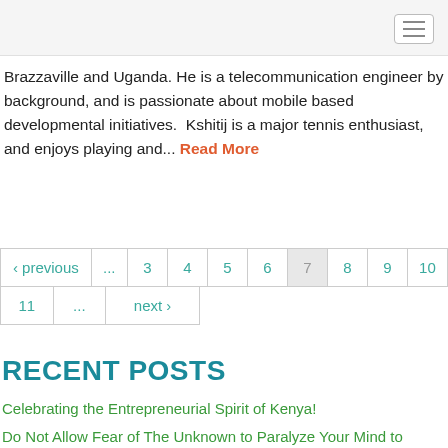Brazzaville and Uganda. He is a telecommunication engineer by background, and is passionate about mobile based developmental initiatives.  Kshitij is a major tennis enthusiast, and enjoys playing and... Read More
‹ previous ... 3 4 5 6 7 8 9 10 11 ... next ›
RECENT POSTS
Celebrating the Entrepreneurial Spirit of Kenya!
Do Not Allow Fear of The Unknown to Paralyze Your Mind to Opportunity!
Adventures of a BwB Volunteer in Kenya
Journey to Talim Island...